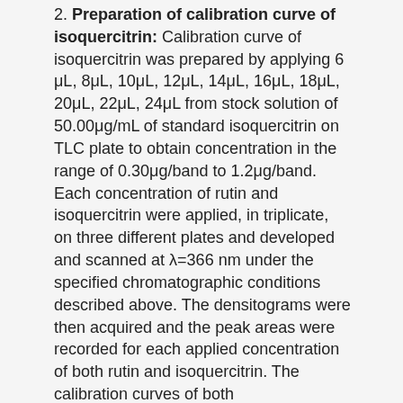2. Preparation of calibration curve of isoquercitrin: Calibration curve of isoquercitrin was prepared by applying 6 μL, 8μL, 10μL, 12μL, 14μL, 16μL, 18μL, 20μL, 22μL, 24μL from stock solution of 50.00μg/mL of standard isoquercitrin on TLC plate to obtain concentration in the range of 0.30μg/band to 1.2μg/band. Each concentration of rutin and isoquercitrin were applied, in triplicate, on three different plates and developed and scanned at λ=366 nm under the specified chromatographic conditions described above. The densitograms were then acquired and the peak areas were recorded for each applied concentration of both rutin and isoquercitrin. The calibration curves of both